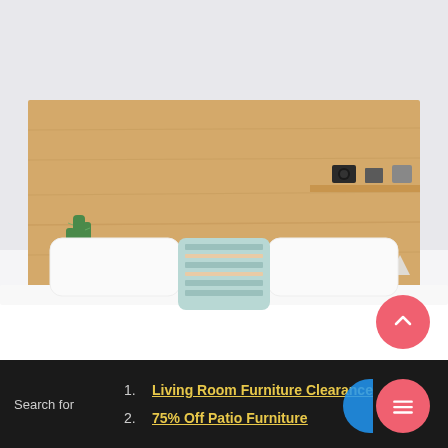[Figure (photo): Bedroom with a wooden plywood headboard/shelf unit, white bedding with a light blue decorative pillow, cactus plant on the left nightstand shelf, small decorative items on the right shelf, white walls]
Search for
1. Living Room Furniture Clearance
2. 75% Off Patio Furniture